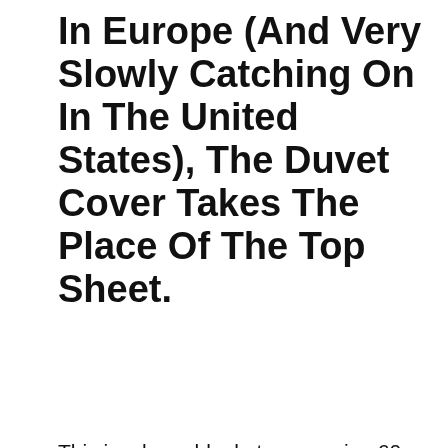In Europe (And Very Slowly Catching On In The United States), The Duvet Cover Takes The Place Of The Top Sheet.
This is a large blanket, measuring 60 inches wide and 80 inches long, so it fits a queen
We use cookies on our website to give you the most relevant experience by remembering your preferences and repeat visits. By clicking “Accept”, you consent to the use of ALL the cookies.
Do not sell my personal information.